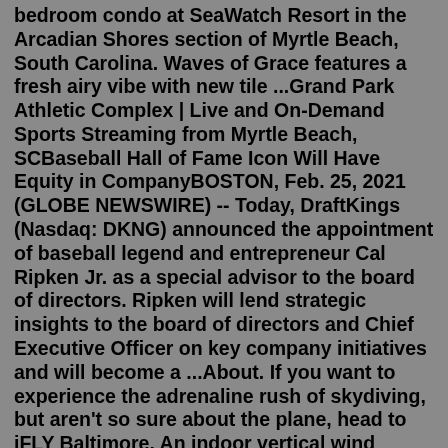bedroom condo at SeaWatch Resort in the Arcadian Shores section of Myrtle Beach, South Carolina. Waves of Grace features a fresh airy vibe with new tile ...Grand Park Athletic Complex | Live and On-Demand Sports Streaming from Myrtle Beach, SCBaseball Hall of Fame Icon Will Have Equity in CompanyBOSTON, Feb. 25, 2021 (GLOBE NEWSWIRE) -- Today, DraftKings (Nasdaq: DKNG) announced the appointment of baseball legend and entrepreneur Cal Ripken Jr. as a special advisor to the board of directors. Ripken will lend strategic insights to the board of directors and Chief Executive Officer on key company initiatives and will become a ...About. If you want to experience the adrenaline rush of skydiving, but aren't so sure about the plane, head to iFLY Baltimore. An indoor vertical wind tunnel allows you to enjoy the thrilling sensations of free-fall in a safe environment. After a brief training, enjoy two separate flights inside the tunnel. An instructor is on hand at all ...ripken myrtle beach field